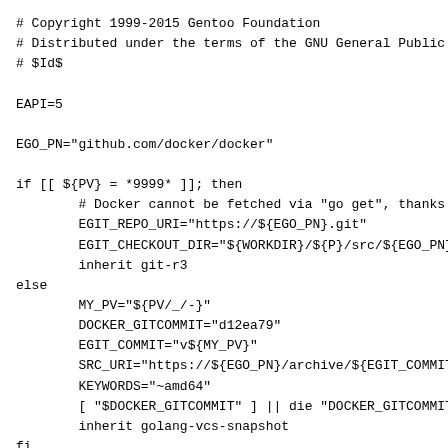# Copyright 1999-2015 Gentoo Foundation
# Distributed under the terms of the GNU General Public L
# $Id$

EAPI=5

EGO_PN="github.com/docker/docker"

if [[ ${PV} = *9999* ]]; then
        # Docker cannot be fetched via "go get", thanks t
        EGIT_REPO_URI="https://${EGO_PN}.git"
        EGIT_CHECKOUT_DIR="${WORKDIR}/${P}/src/${EGO_PN}"
        inherit git-r3
else
        MY_PV="${PV/_/-}"
        DOCKER_GITCOMMIT="d12ea79"
        EGIT_COMMIT="v${MY_PV}"
        SRC_URI="https://${EGO_PN}/archive/${EGIT_COMMIT}
        KEYWORDS="~amd64"
        [ "$DOCKER_GITCOMMIT" ] || die "DOCKER_GITCOMMIT
        inherit golang-vcs-snapshot
fi
inherit bash-completion-r1 eutils linux-info multilib sys

DESCRIPTION="Docker complements kernel namespacing with a
HOMEPAGE="https://dockerproject.org"
LICENSE="Apache-2.0"
SLOT="0"
IUSE="apparmor aufs btrfs +device-mapper experimental lxc